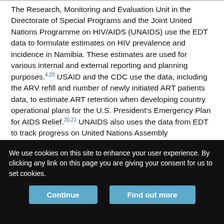The Research, Monitoring and Evaluation Unit in the Directorate of Special Programs and the Joint United Nations Programme on HIV/AIDS (UNAIDS) use the EDT data to formulate estimates on HIV prevalence and incidence in Namibia. These estimates are used for various internal and external reporting and planning purposes.[4,20] USAID and the CDC use the data, including the ARV refill and number of newly initiated ART patients data, to estimate ART retention when developing country operational plans for the U.S. President's Emergency Plan for AIDS Relief.[20,21] UNAIDS also uses the data from EDT to track progress on United Nations Assembly commitments to HIV and to help identify focus population groups for expanding treatment and adherence at the regional and global
We use cookies on this site to enhance your user experience. By clicking any link on this page you are giving your consent for us to set cookies.